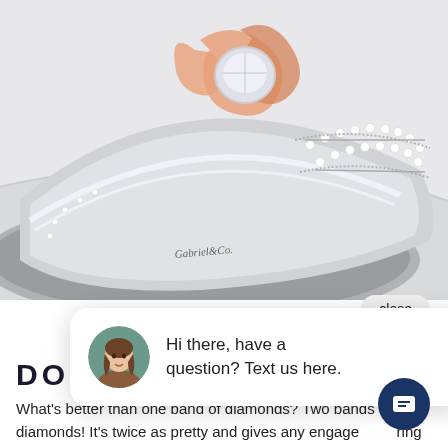[Figure (photo): Close-up photo of a diamond engagement ring with white gold band and rose gold floral center setting, encrusted with diamonds, Gabriel & Co. brand mark visible on interior of band.]
close
[Figure (screenshot): Chat widget popup with female agent avatar photo, message: Hi there, have a question? Text us here.]
DOUBLE
What's better than one band of diamonds? Two bands of diamonds! It's twice as pretty and gives any engagement ring a more modern, architectural feel.